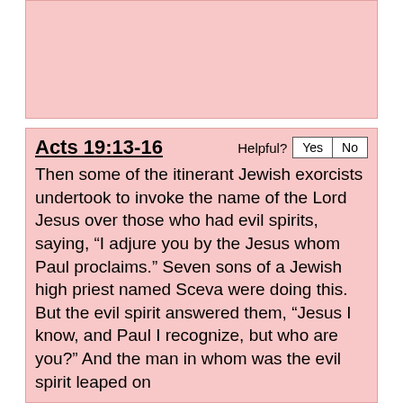[Figure (other): Pink/salmon colored box at top of page, partially visible]
Acts 19:13-16
Then some of the itinerant Jewish exorcists undertook to invoke the name of the Lord Jesus over those who had evil spirits, saying, “I adjure you by the Jesus whom Paul proclaims.” Seven sons of a Jewish high priest named Sceva were doing this. But the evil spirit answered them, “Jesus I know, and Paul I recognize, but who are you?” And the man in whom was the evil spirit leaped on
Unless otherwise indicated, all content is licensed under a Creative Commons Attribution License. All Scripture quotations, unless otherwise indicated, are taken from The Holy Bible, English Standard Version. Copyright ©2001 by Crossway Bibles, a publishing ministry of Good News Publishers. Contact me: